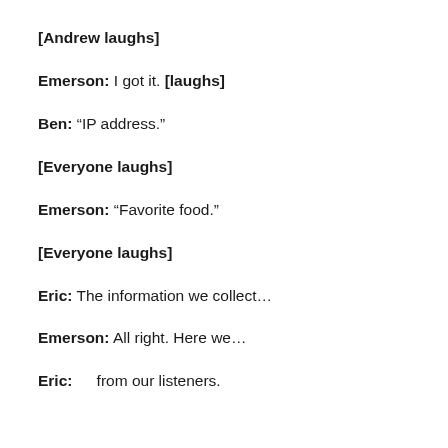[Andrew laughs]
Emerson: I got it. [laughs]
Ben: “IP address.”
[Everyone laughs]
Emerson: “Favorite food.”
[Everyone laughs]
Eric: The information we collect…
Emerson: All right. Here we…
Eric: … from our listeners.